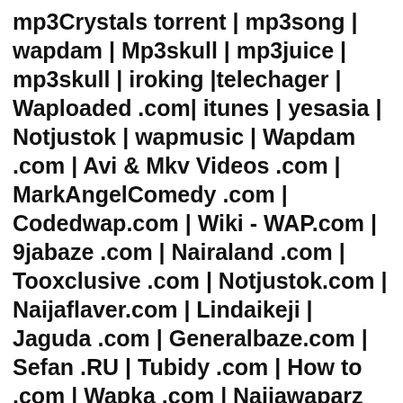mp3Crystals torrent | mp3song | wapdam | Mp3skull | mp3juice | mp3skull | iroking |telechager | Waploaded .com| itunes | yesasia | Notjustok | wapmusic | Wapdam .com | Avi & Mkv Videos .com | MarkAngelComedy .com | Codedwap.com | Wiki - WAP.com | 9jabaze .com | Nairaland .com | Tooxclusive .com | Notjustok.com | Naijaflaver.com | Lindaikeji | Jaguda .com | Generalbaze.com | Sefan .RU | Tubidy .com | How to .com | Wapka .com | Naijawaparz .com | Naijapals .com | Waptype .tk | Wapka .com
2pac Dear Mama, 2pac Dear Mama, Ed Sheeran Perfect